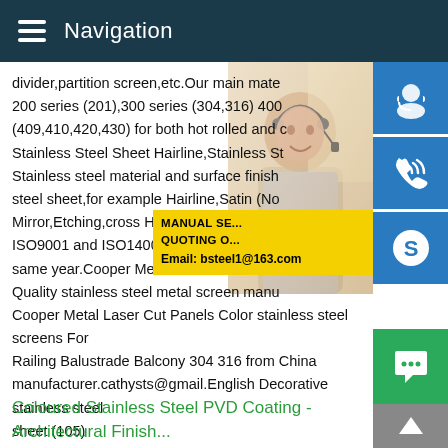Navigation
divider,partition screen,etc.Our main mate 200 series (201),300 series (304,316) 400 (409,410,420,430) for both hot rolled and cold Stainless Steel Sheet Hairline,Stainless Steel Stainless steel material and surface finish steel sheet,for example Hairline,Satin (No Mirror,Etching,cross Hairline and so on.We ISO9001 and ISO14001,and applied the b same year.Cooper Metal Laser Cut Panels Quality stainless steel metal screen manufacturer Cooper Metal Laser Cut Panels Color stainless steel screens For Railing Balustrade Balcony 304 316 from China manufacturer.cathysts@gmail.English Decorative stainless steel sheet (105)
[Figure (photo): Woman with headset customer service representative, partial view]
MANUAL SE... QUOTING O... Email: bsteel1@163.com
Coloured Stainless Steel PVD Coating - Architectural Finish